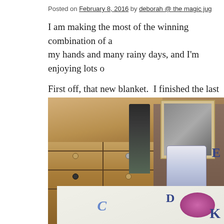Posted on February 8, 2016 by deborah @ the magic jug
I am making the most of the winning combination of a... my hands and many rainy days, and I'm enjoying lots o...
First off, that new blanket.  I finished the last of the squ... ago, and sat myself down to learn how to crochet them...
[Figure (photo): Photo of a wooden chest of drawers with multiple small drawers, knobs/handles, beside bottles, a picture frame, a blue and white vase, and papers/letters with crochet squares in the foreground.]